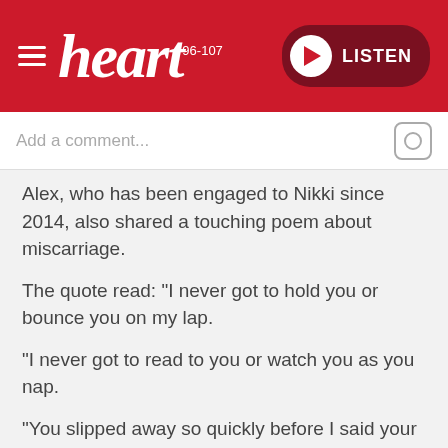heart 96-107 | LISTEN
Add a comment...
Alex, who has been engaged to Nikki since 2014, also shared a touching poem about miscarriage.
The quote read: "I never got to hold you or bounce you on my lap.
"I never got to read to you or watch you as you nap.
"You slipped away so quickly before I said your name.
"And I want the world to know, I loved you just the same."
Read more: Harry Judd's wife Izzy shares heartbreaking post about her miscarriage